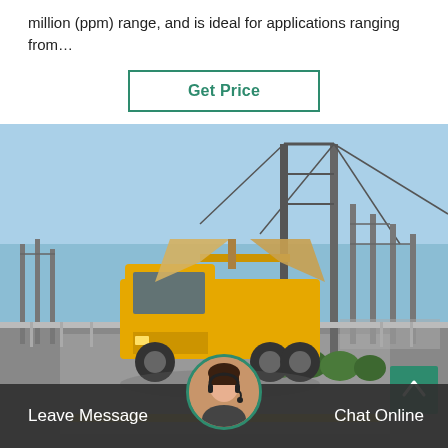million (ppm) range, and is ideal for applications ranging from…
Get Price
[Figure (photo): Yellow utility/service truck with a satellite dish or equipment mounted on top, parked or driving at an electrical substation with large transmission towers and power line infrastructure visible in the background. Clear blue sky. Small shrubs along a concrete walkway.]
Leave Message
Chat Online